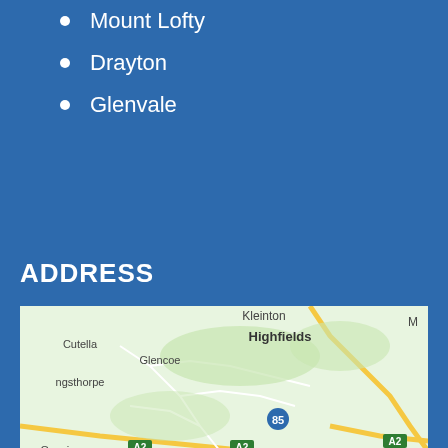Mount Lofty
Drayton
Glenvale
ADDRESS
Suite 127, 58-62 Water Street, South Toowoomba, QLD 4350
ph. (07) 4646 4031
[Figure (map): Google map showing the Toowoomba area including Highfields, Kleinton, Cutella, Glencoe, Gowrie Mountain, with roads including A2 and route 85 visible.]